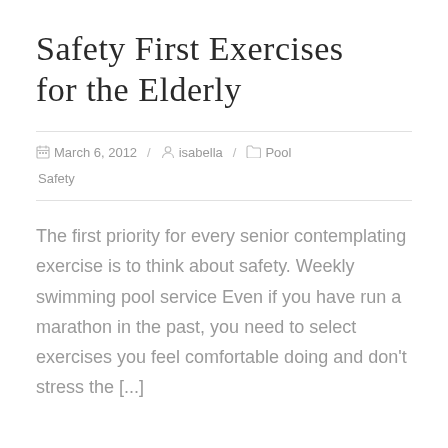Safety First Exercises for the Elderly
March 6, 2012 / isabella / Pool Safety
The first priority for every senior contemplating exercise is to think about safety. Weekly swimming pool service Even if you have run a marathon in the past, you need to select exercises you feel comfortable doing and don't stress the [...]